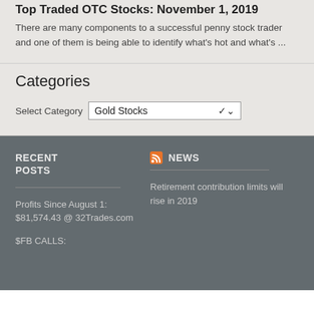Top Traded OTC Stocks: November 1, 2019
There are many components to a successful penny stock trader and one of them is being able to identify what's hot and what's ...
Categories
Select Category: Gold Stocks
RECENT POSTS
Profits Since August 1: $81,574.43 @ 32Trades.com
$FB CALLS:
NEWS
Retirement contribution limits will rise in 2019